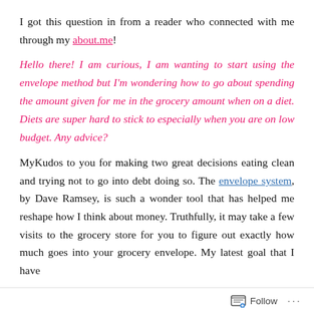I got this question in from a reader who connected with me through my about.me!
Hello there! I am curious, I am wanting to start using the envelope method but I'm wondering how to go about spending the amount given for me in the grocery amount when on a diet. Diets are super hard to stick to especially when you are on low budget. Any advice?
MyKudos to you for making two great decisions eating clean and trying not to go into debt doing so. The envelope system, by Dave Ramsey, is such a wonder tool that has helped me reshape how I think about money. Truthfully, it may take a few visits to the grocery store for you to figure out exactly how much goes into your grocery envelope. My latest goal that I have
Follow ...